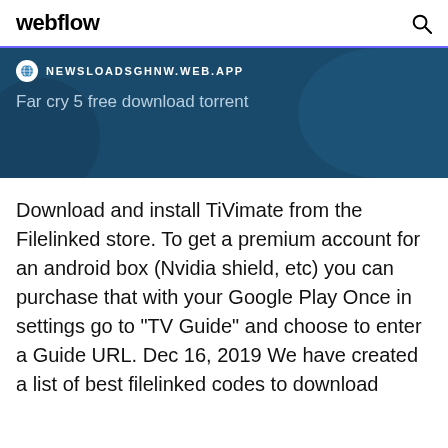webflow
[Figure (screenshot): Blue banner with globe icon, URL 'NEWSLOADSGHNW.WEB.APP', and text 'Far cry 5 free download torrent']
Download and install TiVimate from the Filelinked store. To get a premium account for an android box (Nvidia shield, etc) you can purchase that with your Google Play Once in settings go to "TV Guide" and choose to enter a Guide URL. Dec 16, 2019 We have created a list of best filelinked codes to download